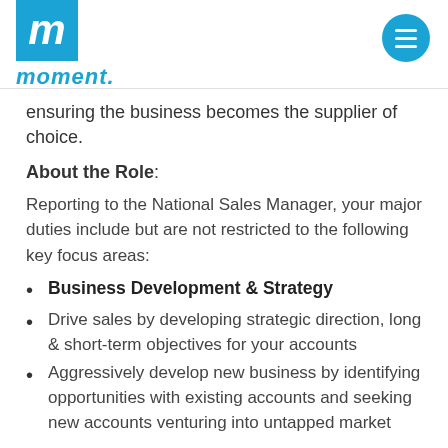moment.
ensuring the business becomes the supplier of choice.
About the Role:
Reporting to the National Sales Manager, your major duties include but are not restricted to the following key focus areas:
Business Development & Strategy
Drive sales by developing strategic direction, long & short-term objectives for your accounts
Aggressively develop new business by identifying opportunities with existing accounts and seeking new accounts venturing into untapped market